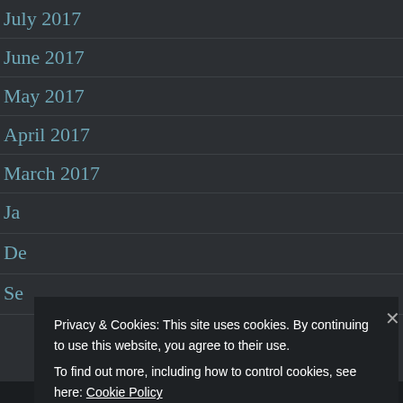July 2017
June 2017
May 2017
April 2017
March 2017
Ja[nuary 2017]
De[cember 2016]
Se[ptember 2016]
Privacy & Cookies: This site uses cookies. By continuing to use this website, you agree to their use. To find out more, including how to control cookies, see here: Cookie Policy
Close and accept